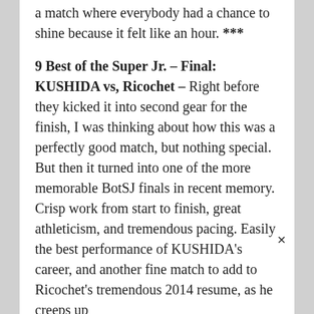a match where everybody had a chance to shine because it felt like an hour. ***
9 Best of the Super Jr. – Final: KUSHIDA vs, Ricochet – Right before they kicked it into second gear for the finish, I was thinking about how this was a perfectly good match, but nothing special. But then it turned into one of the more memorable BotSJ finals in recent memory. Crisp work from start to finish, great athleticism, and tremendous pacing. Easily the best performance of KUSHIDA's career, and another fine match to add to Ricochet's tremendous 2014 resume, as he creeps up